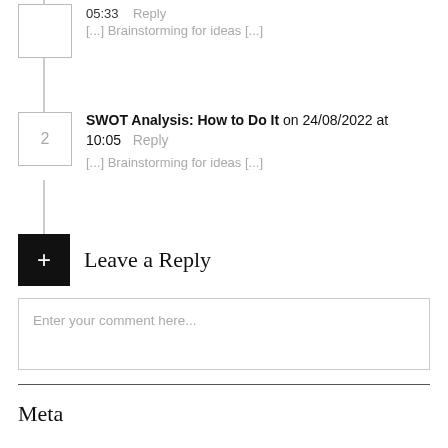05:33   Reply
[...] Brainstorming for ideas [...]
SWOT Analysis: How to Do It on 24/08/2022 at 10:05   Reply
[...] Brainstorming for ideas [...]
Leave a Reply
Enter your comment here...
Meta